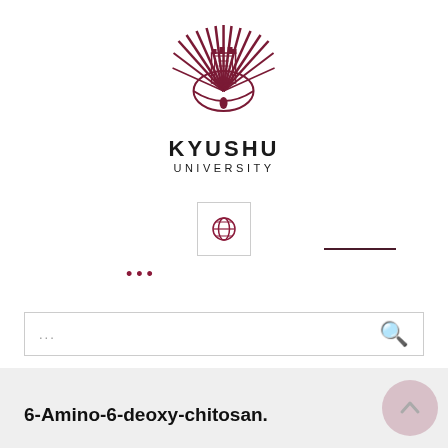[Figure (logo): Kyushu University logo — a stylized sunburst/fan emblem in dark red/maroon with a central crest, accompanied by text KYUSHU UNIVERSITY below]
[Figure (other): Globe icon inside a square bordered box, representing language/international selection]
[Figure (other): Horizontal dark line (menu or UI element) on the right side]
...
[Figure (screenshot): Search bar with placeholder '...' and a magnifying glass search icon]
6-Amino-6-deoxy-chitosan.